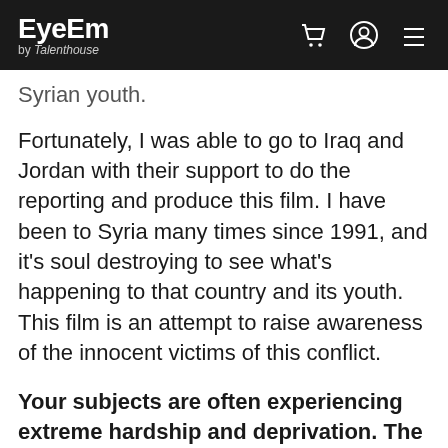EyeEm by Talenthouse
Syrian youth.
Fortunately, I was able to go to Iraq and Jordan with their support to do the reporting and produce this film. I have been to Syria many times since 1991, and it's soul destroying to see what's happening to that country and its youth. This film is an attempt to raise awareness of the innocent victims of this conflict.
Your subjects are often experiencing extreme hardship and deprivation. The potential power of a photograph is huge, but dramatically different from the material needs of these people right now. How do you explain the importance of your work to these